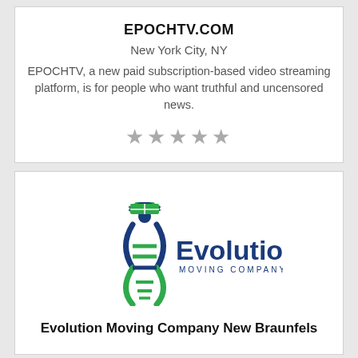EPOCHTV.COM
New York City, NY
EPOCHTV, a new paid subscription-based video streaming platform, is for people who want truthful and uncensored news.
★★★★★
[Figure (logo): Evolution Moving Company logo: DNA helix figure with graduation cap holding a moving box, with 'Evolution MOVING COMPANY' text in dark blue and green]
Evolution Moving Company New Braunfels